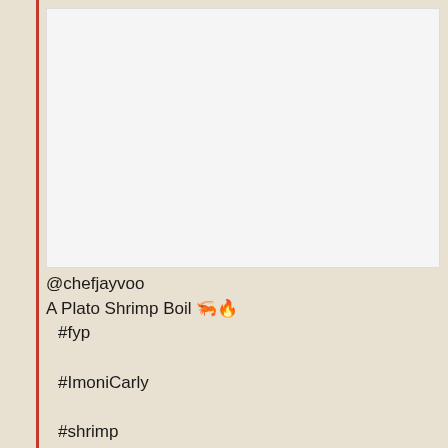[Figure (photo): Video/photo placeholder area showing a white/light gray rectangle representing a social media video frame]
@chefjayvoo
A Plato Shrimp Boil 🦐🔥
  #fyp
  #ImoniCarly
  #shrimp
  #seafood
  ♩ Jazzy Chill hip hop(881579) – NOBB-D